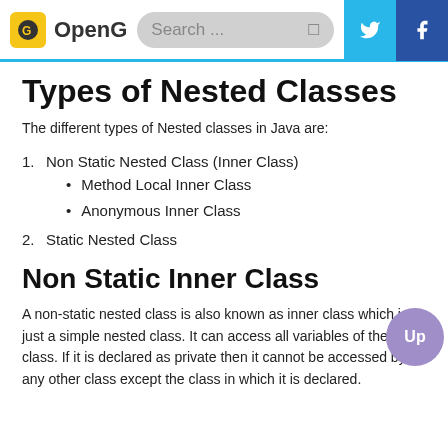OpenG | Search... | Twitter | Facebook
Types of Nested Classes
The different types of Nested classes in Java are:
1. Non Static Nested Class (Inner Class)
• Method Local Inner Class
• Anonymous Inner Class
2. Static Nested Class
Non Static Inner Class
A non-static nested class is also known as inner class which is just a simple nested class. It can access all variables of the outer class. If it is declared as private then it cannot be accessed by any other class except the class in which it is declared.